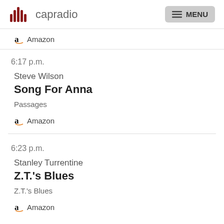capradio MENU
Amazon
6:17 p.m.
Steve Wilson
Song For Anna
Passages
Amazon
6:23 p.m.
Stanley Turrentine
Z.T.'s Blues
Z.T.'s Blues
Amazon